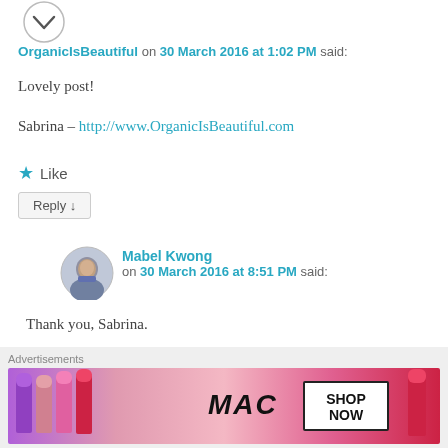[Figure (logo): Circular logo with arrow/chevron shape, OrganicIsBeautiful avatar]
OrganicIsBeautiful on 30 March 2016 at 1:02 PM said:
Lovely post!
Sabrina – http://www.OrganicIsBeautiful.com
★ Like
Reply ↓
[Figure (photo): Circular avatar photo of Mabel Kwong]
Mabel Kwong on 30 March 2016 at 8:51 PM said:
Thank you, Sabrina.
Advertisements
[Figure (photo): MAC cosmetics advertisement banner with lipsticks and SHOP NOW button]